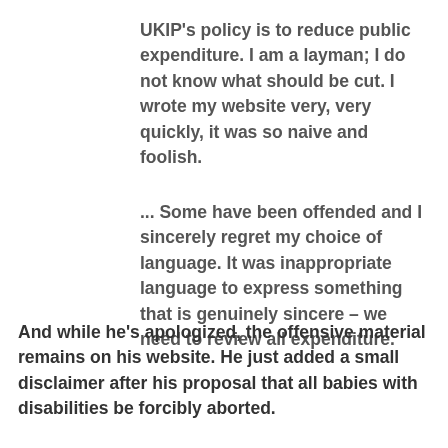UKIP's policy is to reduce public expenditure. I am a layman; I do not know what should be cut. I wrote my website very, very quickly, it was so naive and foolish.
... Some have been offended and I sincerely regret my choice of language. It was inappropriate language to express something that is genuinely sincere – we need to review all expenditure.
And while he's apologized, the offensive material remains on his website. He just added a small disclaimer after his proposal that all babies with disabilities be forcibly aborted.